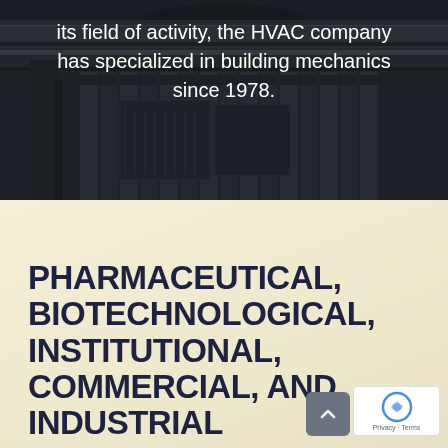[Figure (photo): Dark industrial HVAC background photo showing pipes, ducts, and mechanical equipment against a dark building facade]
its field of activity, the HVAC company has specialized in building mechanics since 1978.
PHARMACEUTICAL, BIOTECHNOLOGICAL, INSTITUTIONAL, COMMERCIAL, AND INDUSTRIAL